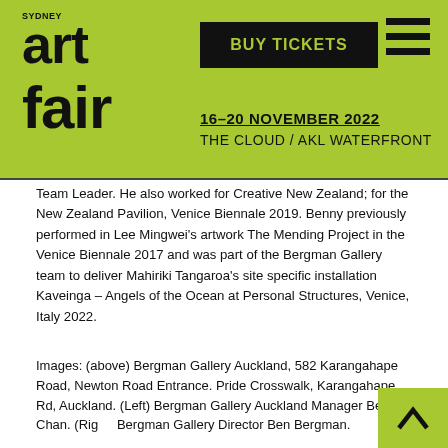art fair | BUY TICKETS | 16–20 NOVEMBER 2022 | THE CLOUD / AKL WATERFRONT
Team Leader. He also worked for Creative New Zealand; for the New Zealand Pavilion, Venice Biennale 2019. Benny previously performed in Lee Mingwei's artwork The Mending Project in the Venice Biennale 2017 and was part of the Bergman Gallery team to deliver Mahiriki Tangaroa's site specific installation Kaveinga – Angels of the Ocean at Personal Structures, Venice, Italy 2022.
Images: (above) Bergman Gallery Auckland, 582 Karangahape Road, Newton Road Entrance. Pride Crosswalk, Karangahape Rd, Auckland. (Left) Bergman Gallery Auckland Manager Benny Chan. (Right) Bergman Gallery Director Ben Bergman.